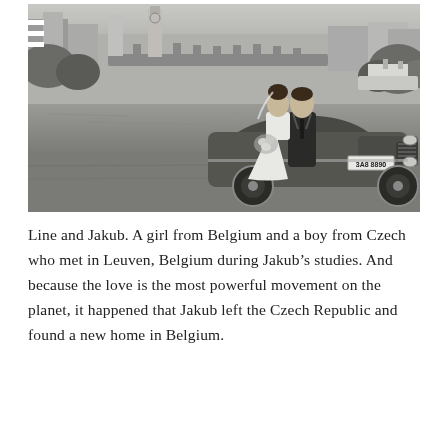[Figure (photo): Black and white wedding photo of a couple standing near a vintage convertible car by a riverside. In the background is a stone bridge and city buildings. The car has a license plate reading '3A8 8890'. A hamburger menu icon (three horizontal lines) is visible in the upper left corner of the image.]
Line and Jakub. A girl from Belgium and a boy from Czech who met in Leuven, Belgium during Jakub's studies. And because the love is the most powerful movement on the planet, it happened that Jakub left the Czech Republic and found a new home in Belgium.